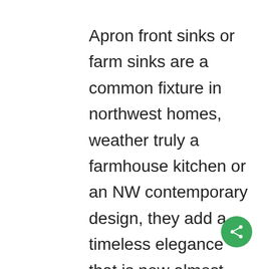Apron front sinks or farm sinks are a common fixture in northwest homes, weather truly a farmhouse kitchen or an NW contemporary design, they add a timeless elegance that is now almost synonymous with luxury. Stainless steel, copper, and granite composite are available, but the most common apron front sinks installed today are porcelain or porcelain-coated cast iron. These sinks are available in all the standard sizes and configurations, and in many cases are designed to be under